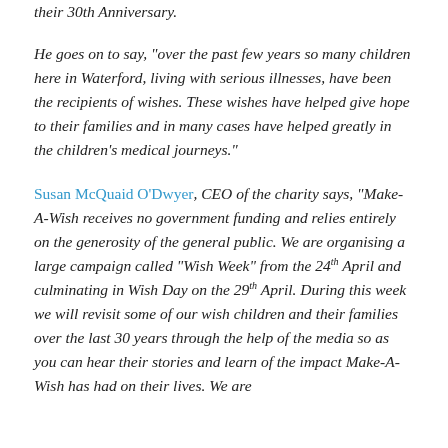their 30th Anniversary.
He goes on to say, “over the past few years so many children here in Waterford, living with serious illnesses, have been the recipients of wishes. These wishes have helped give hope to their families and in many cases have helped greatly in the children’s medical journeys.”
Susan McQuaid O’Dwyer, CEO of the charity says, “Make-A-Wish receives no government funding and relies entirely on the generosity of the general public. We are organising a large campaign called “Wish Week” from the 24th April and culminating in Wish Day on the 29th April. During this week we will revisit some of our wish children and their families over the last 30 years through the help of the media so as you can hear their stories and learn of the impact Make-A-Wish has had on their lives. We are